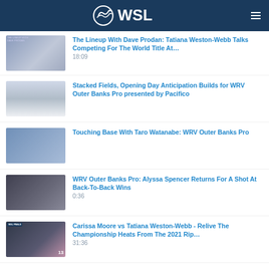WSL
The Lineup With Dave Prodan: Tatiana Weston-Webb Talks Competing For The World Title At… 18:09
Stacked Fields, Opening Day Anticipation Builds for WRV Outer Banks Pro presented by Pacifico
Touching Base With Taro Watanabe: WRV Outer Banks Pro
WRV Outer Banks Pro: Alyssa Spencer Returns For A Shot At Back-To-Back Wins 0:36
Carissa Moore vs Tatiana Weston-Webb - Relive The Championship Heats From The 2021 Rip… 31:36